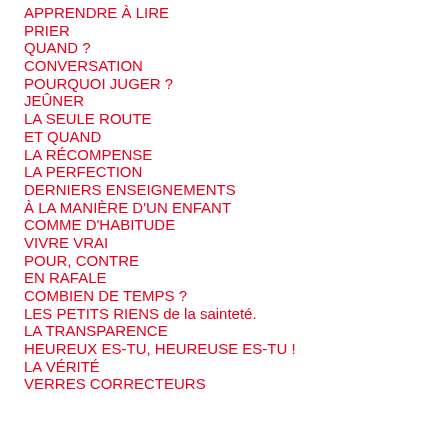APPRENDRE À LIRE
PRIER
QUAND ?
CONVERSATION
POURQUOI JUGER ?
JEÛNER
LA SEULE ROUTE
ET QUAND
LA RÉCOMPENSE
LA PERFECTION
DERNIERS ENSEIGNEMENTS
À LA MANIÈRE D'UN ENFANT
COMME D'HABITUDE
VIVRE VRAI
POUR, CONTRE
EN RAFALE
COMBIEN DE TEMPS ?
LES PETITS RIENS de la sainteté.
LA TRANSPARENCE
HEUREUX ES-TU, HEUREUSE ES-TU !
LA VÉRITÉ
VERRES CORRECTEURS